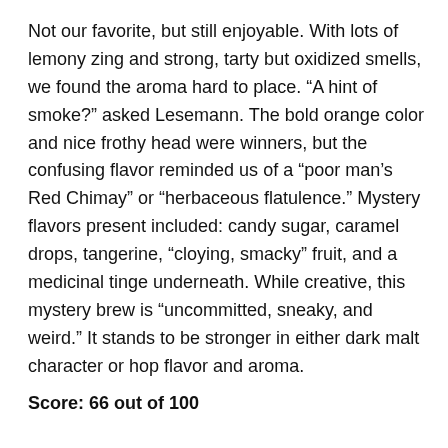Not our favorite, but still enjoyable. With lots of lemony zing and strong, tarty but oxidized smells, we found the aroma hard to place. “A hint of smoke?” asked Lesemann. The bold orange color and nice frothy head were winners, but the confusing flavor reminded us of a “poor man’s Red Chimay” or “herbaceous flatulence.” Mystery flavors present included: candy sugar, caramel drops, tangerine, “cloying, smacky” fruit, and a medicinal tinge underneath. While creative, this mystery brew is “uncommitted, sneaky, and weird.” It stands to be stronger in either dark malt character or hop flavor and aroma.
Score: 66 out of 100